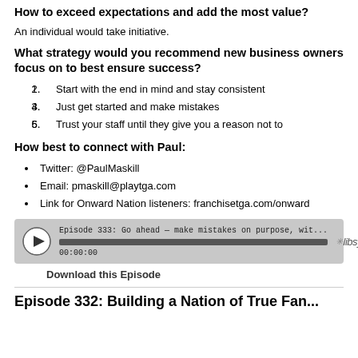How to exceed expectations and add the most value?
An individual would take initiative.
What strategy would you recommend new business owners focus on to best ensure success?
Start with the end in mind and stay consistent
Just get started and make mistakes
Trust your staff until they give you a reason not to
How best to connect with Paul:
Twitter: @PaulMaskill
Email: pmaskill@playtga.com
Link for Onward Nation listeners: franchisetga.com/onward
[Figure (other): Audio player widget showing Episode 333: Go ahead — make mistakes on purpose, wit... with a progress bar at 00:00:00 and libsyn branding]
Download this Episode
Episode 332: Building a Nation of True Fan...